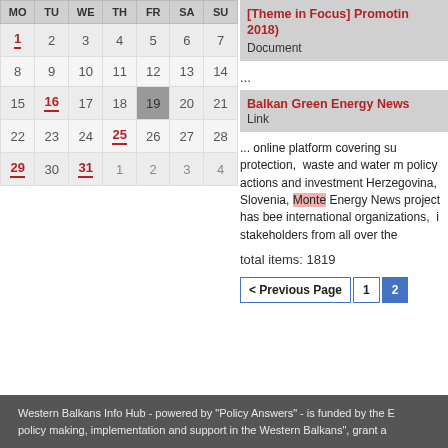| MO | TU | WE | TH | FR | SA | SU |
| --- | --- | --- | --- | --- | --- | --- |
| 1 | 2 | 3 | 4 | 5 | 6 | 7 |
| 8 | 9 | 10 | 11 | 12 | 13 | 14 |
| 15 | 16 | 17 | 18 | 19 | 20 | 21 |
| 22 | 23 | 24 | 25 | 26 | 27 | 28 |
| 29 | 30 | 31 | 1 | 2 | 3 | 4 |
[Theme in Focus] Promotin 2018)
Document
...
Balkan Green Energy News
Link
... online platform covering su protection,  waste and water m policy actions and investment Herzegovina, Slovenia, Monte Energy News project has bee international organizations,  i stakeholders from all over the
total items: 1819
< Previous Page  1  2
Western Balkans Info Hub - powered by "Policy Answers" - is funded by the B policy making, implementation and support in the Western Balkans", grant a